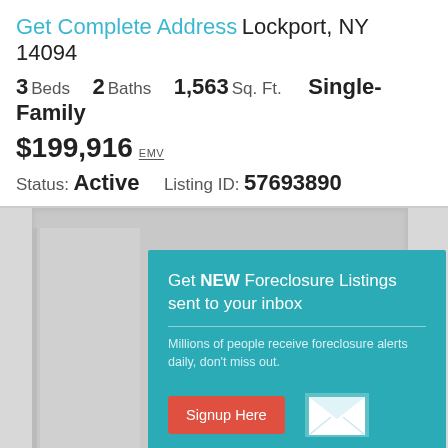Get Complete Address Lockport, NY 14094
3 Beds  2 Baths  1,563 Sq. Ft.  Single-Family
$199,916 EMV
Status: Active   Listing ID: 57693890
[Figure (screenshot): Gray background panel with a teal popup modal overlay containing foreclosure listing signup prompt, a red 'Signup Here' button, and a white mail envelope icon]
Get NEW Foreclosure Listings sent to your inbox
Millions of people receive foreclosure alerts daily, don't miss out.
Signup Here
No Thanks | Remind Me Later